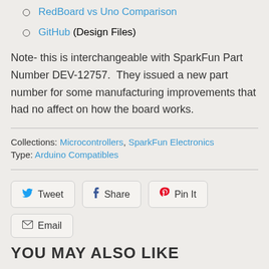RedBoard vs Uno Comparison
GitHub (Design Files)
Note- this is interchangeable with SparkFun Part Number DEV-12757.  They issued a new part number for some manufacturing improvements that had no affect on how the board works.
Collections: Microcontrollers, SparkFun Electronics
Type: Arduino Compatibles
[Figure (other): Social sharing buttons: Tweet, Share, Pin It, Email]
YOU MAY ALSO LIKE